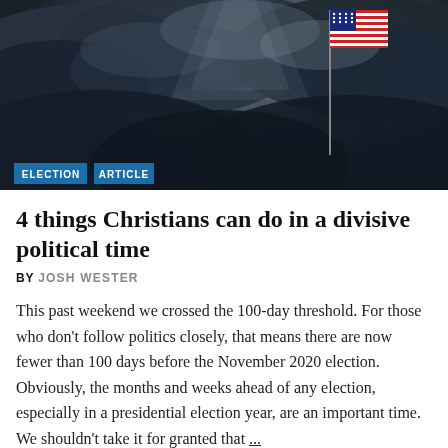[Figure (photo): Dark stormy sky with an American flag on a flagpole against dramatic cloudy background. Two tag labels at bottom-left: ELECTION and ARTICLE.]
4 things Christians can do in a divisive political time
BY JOSH WESTER
This past weekend we crossed the 100-day threshold. For those who don't follow politics closely, that means there are now fewer than 100 days before the November 2020 election. Obviously, the months and weeks ahead of any election, especially in a presidential election year, are an important time. We shouldn't take it for granted that ...